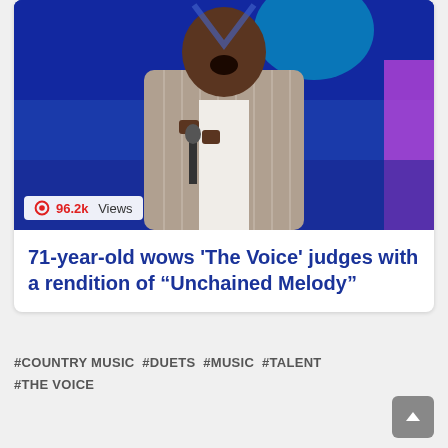[Figure (photo): An older Black man in a pinstripe suit singing passionately into a microphone on a stage with blue and purple lighting in the background. A view count badge reads '96.2k Views'.]
71-year-old wows 'The Voice' judges with a rendition of “Unchained Melody”
#COUNTRY MUSIC #DUETS #MUSIC #TALENT #THE VOICE